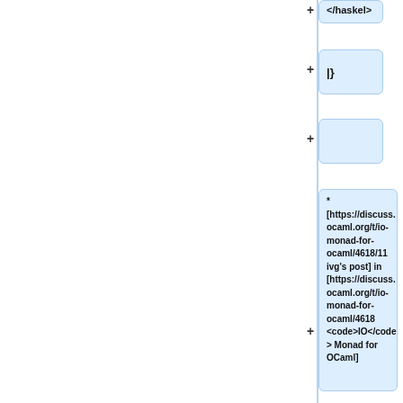[Figure (other): Tree/outline UI showing a hierarchical node structure with expandable nodes. Nodes shown (top to bottom): a partially visible node with '</haskel>', a node with '|}', an empty node, a large node with text referencing URLs and IO Monad for OCaml discussion, a node with ':{|', and a partially visible node with '|<div style="border-']
</haskel>
|}
* [https://discuss.ocaml.org/t/io-monad-for-ocaml/4618/11 ivg's post] in [https://discuss.ocaml.org/t/io-monad-for-ocaml/4618 <code>IO</code> Monad for OCaml]
:{|
|<div style="border-